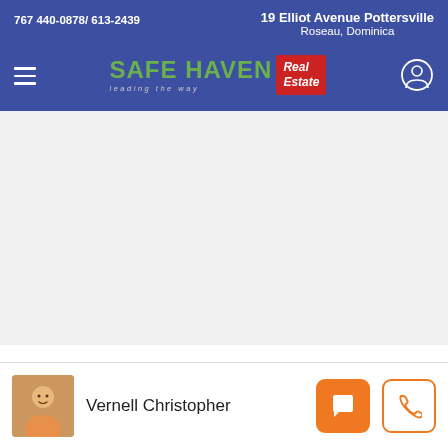767 440-0878/ 613-2439 | 19 Elliot Avenue Pottersville, Roseau, Dominica
[Figure (logo): Safe Haven Real Estate logo with green text 'SAFE HAVEN', italic subtitle 'leading the way', and red badge reading 'Real Estate']
Vernell Christopher